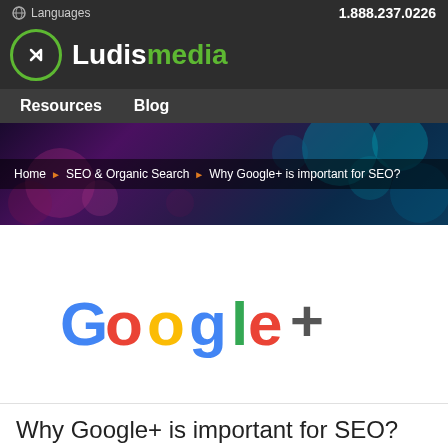Languages  1.888.237.0226
[Figure (logo): Ludismedia logo with green circle icon and white text]
Resources  Blog
[Figure (photo): Colorful bokeh background banner with purple, blue, teal circles]
Home ▶ SEO & Organic Search ▶ Why Google+ is important for SEO?
[Figure (illustration): Google+ logo with colorful Google person icon on white background]
Why Google+ is important for SEO?
FILED UNDER SEO & ORGANIC SEARCH  |  ADDED ON: 14 NOVEMBER 2013